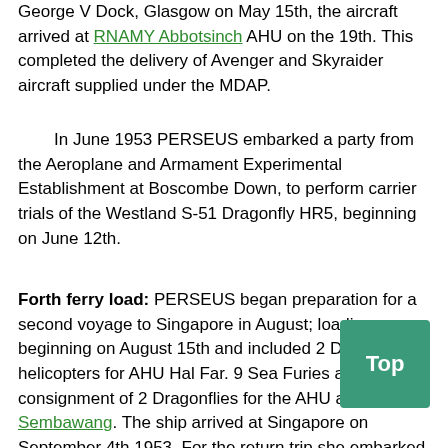George V Dock, Glasgow on May 15th, the aircraft arrived at RNAMY Abbotsinch AHU on the 19th. This completed the delivery of Avenger and Skyraider aircraft supplied under the MDAP.
In June 1953 PERSEUS embarked a party from the Aeroplane and Armament Experimental Establishment at Boscombe Down, to perform carrier trials of the Westland S-51 Dragonfly HR5, beginning on June 12th.
Forth ferry load: PERSEUS began preparation for a second voyage to Singapore in August; loading beginning on August 15th and included 2 Dragonfly helicopters for AHU Hal Far. 9 Sea Furies and a final consignment of 2 Dragonflies for the AHU at Sembawang. The ship arrived at Singapore on September 4th 1953. For the return trip she embarked 2 Sea Fury, 7 Fireflies & 1 Dragonfly AHU Sembawang on October 5th before sailing for